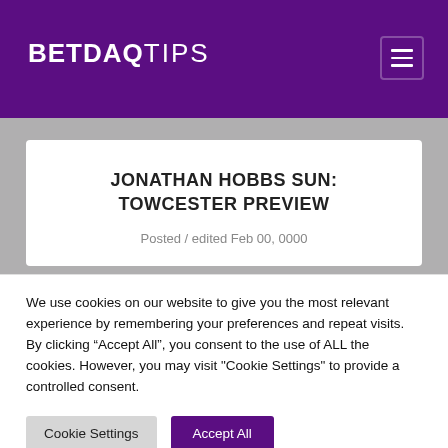BETDAQ TIPS
JONATHAN HOBBS SUN: TOWCESTER PREVIEW
Posted / edited Feb 00, 0000
We use cookies on our website to give you the most relevant experience by remembering your preferences and repeat visits. By clicking “Accept All”, you consent to the use of ALL the cookies. However, you may visit "Cookie Settings" to provide a controlled consent.
Cookie Settings   Accept All